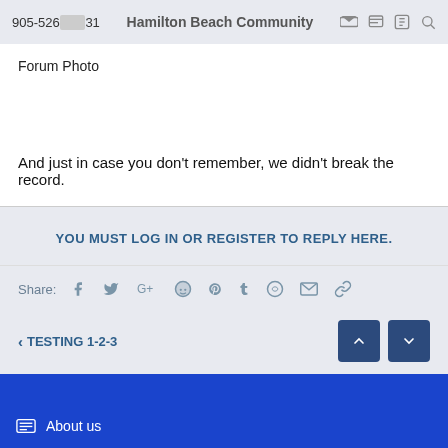905-526...31 Hamilton Beach Community
Forum Photo
And just in case you don't remember, we didn't break the record.
YOU MUST LOG IN OR REGISTER TO REPLY HERE.
Share:
< TESTING 1-2-3
About us